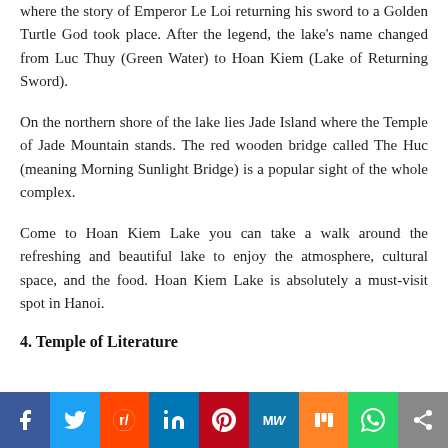where the story of Emperor Le Loi returning his sword to a Golden Turtle God took place. After the legend, the lake's name changed from Luc Thuy (Green Water) to Hoan Kiem (Lake of Returning Sword).
On the northern shore of the lake lies Jade Island where the Temple of Jade Mountain stands. The red wooden bridge called The Huc (meaning Morning Sunlight Bridge) is a popular sight of the whole complex.
Come to Hoan Kiem Lake you can take a walk around the refreshing and beautiful lake to enjoy the atmosphere, cultural space, and the food. Hoan Kiem Lake is absolutely a must-visit spot in Hanoi.
4. Temple of Literature
[Figure (infographic): Social media sharing bar with icons for Facebook, Twitter, Reddit, LinkedIn, Pinterest, MeWe, Mix, WhatsApp, and a share/more button.]